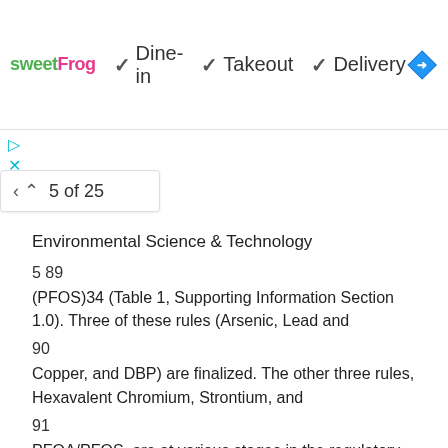[Figure (screenshot): Ad banner for sweetFrog showing Dine-in, Takeout, Delivery options with checkmarks and navigation diamond icon]
Environmental Science & Technology
5 89
(PFOS)34 (Table 1, Supporting Information Section 1.0). Three of these rules (Arsenic, Lead and
90
Copper, and DBP) are finalized. The other three rules, Hexavalent Chromium, Strontium, and
91
PFOA/PFOS, are at various stages in the regulatory process. These rules will require the